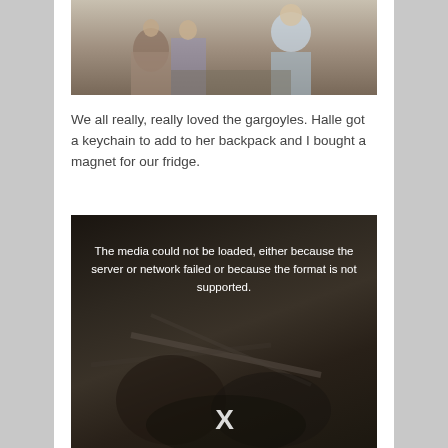[Figure (photo): Partial photo of people (tourists), cropped at top, showing figures near a railing or wall]
We all really, really loved the gargoyles. Halle got a keychain to add to her backpack and I bought a magnet for our fridge.
[Figure (other): Video player showing error message: 'The media could not be loaded, either because the server or network failed or because the format is not supported.' with an X button, dark background showing gargoyle-like sculpture details]